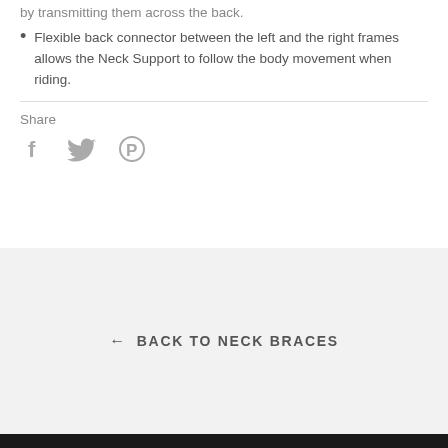by transmitting them across the back.
Flexible back connector between the left and the right frames allows the Neck Support to follow the body movement when riding.
Share
[Figure (infographic): Three social media icons: Facebook (f), Twitter (bird), Pinterest (P) in gray]
← BACK TO NECK BRACES